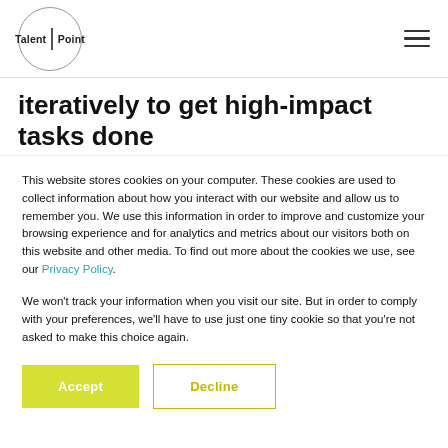Talent Point
iteratively to get high-impact tasks done efficiently. We kicked off at the beginning of
This website stores cookies on your computer. These cookies are used to collect information about how you interact with our website and allow us to remember you. We use this information in order to improve and customize your browsing experience and for analytics and metrics about our visitors both on this website and other media. To find out more about the cookies we use, see our Privacy Policy.
We won't track your information when you visit our site. But in order to comply with your preferences, we'll have to use just one tiny cookie so that you're not asked to make this choice again.